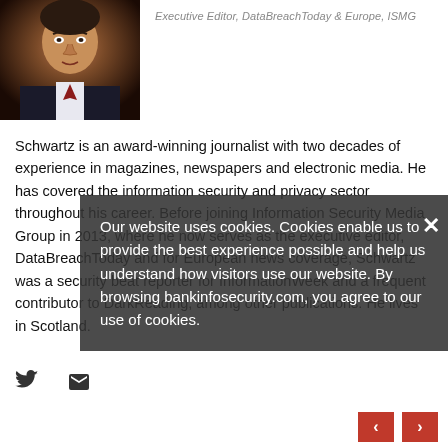[Figure (photo): Headshot photo of a man in dark suit and tie]
Executive Editor, DataBreachToday & Europe, ISMG
Schwartz is an award-winning journalist with two decades of experience in magazines, newspapers and electronic media. He has covered the information security and privacy sector throughout his career. Before joining Information Security Media Group in 2013, where he now serves as the executive editor, DataBreachToday and for European news coverage, Schwartz was a security beat reporter for InformationWeek and a frequent contributor to DarkReading, among other publications. He lives in Scotland.
[Figure (infographic): Cookie consent overlay: Our website uses cookies. Cookies enable us to provide the best experience possible and help us understand how visitors use our website. By browsing bankinfosecurity.com, you agree to our use of cookies.]